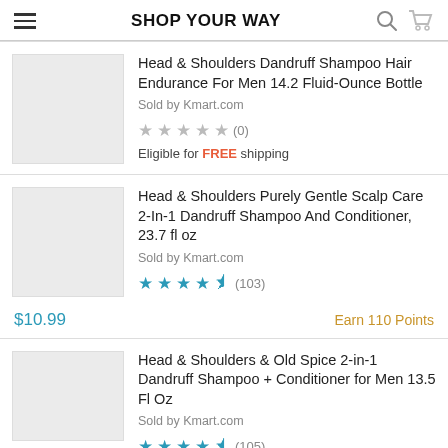SHOP YOUR WAY
[Figure (screenshot): Product listing: Head & Shoulders Dandruff Shampoo Hair Endurance For Men 14.2 Fluid-Ounce Bottle, Sold by Kmart.com, 0 reviews, Eligible for FREE shipping]
[Figure (screenshot): Product listing: Head & Shoulders Purely Gentle Scalp Care 2-In-1 Dandruff Shampoo And Conditioner, 23.7 fl oz, Sold by Kmart.com, 4.5 stars (103), $10.99, Earn 110 Points]
[Figure (screenshot): Product listing: Head & Shoulders & Old Spice 2-in-1 Dandruff Shampoo + Conditioner for Men 13.5 Fl Oz, Sold by Kmart.com, 4.5 stars (105)]